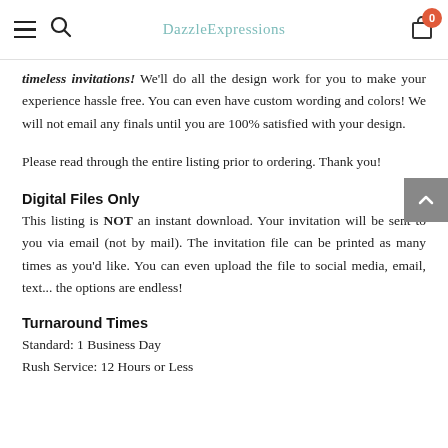DazzleExpressions — navigation header with hamburger menu, search, logo, and cart (0 items)
timeless invitations! We'll do all the design work for you to make your experience hassle free. You can even have custom wording and colors! We will not email any finals until you are 100% satisfied with your design.
Please read through the entire listing prior to ordering. Thank you!
Digital Files Only
This listing is NOT an instant download. Your invitation will be sent to you via email (not by mail). The invitation file can be printed as many times as you'd like. You can even upload the file to social media, email, text... the options are endless!
Turnaround Times
Standard: 1 Business Day
Rush Service: 12 Hours or Less